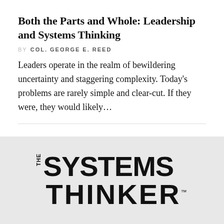Both the Parts and Whole: Leadership and Systems Thinking
BY COL. GEORGE E. REED
Leaders operate in the realm of bewildering uncertainty and staggering complexity. Today's problems are rarely simple and clear-cut. If they were, they would likely...
1  2  3  4  NEXT →
[Figure (logo): The Systems Thinker logo: stylized vertical 'THE' text beside 'SYSTEMS' and below 'THINKER' in bold sans-serif on grey background]